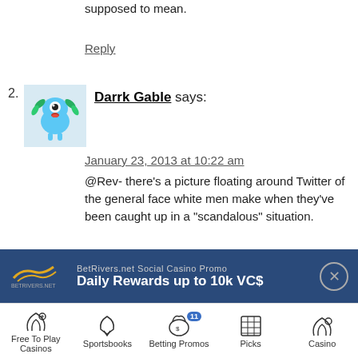supposed to mean.
Reply
2. Darrk Gable says:
[Figure (illustration): Cartoon avatar of a blue alien/monster creature with one eye, green plant-like appendages, and red details]
January 23, 2013 at 10:22 am
@Rev- there's a picture floating around Twitter of the general face white men make when they've been caught up in a "scandalous" situation.
Our culture is one of hero worship and idolatry. Not exactly sure when it started, but it's been ingrained in the collective psyche of society for decades, maybe centuries. The only people who can stop it (parents) are not being proactive
TOP
BetRivers.net Social Casino Promo
Daily Rewards up to 10k VC$
Free To Play Casinos
Sportsbooks
Betting Promos
Picks
Casino